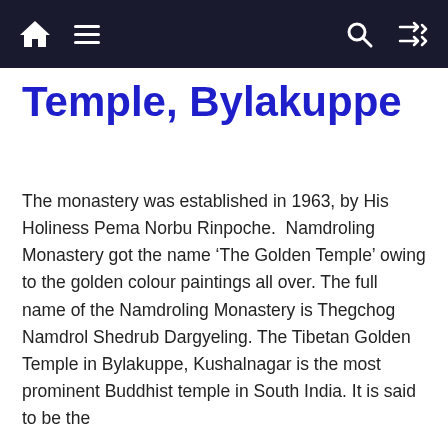Navigation bar with home, menu, search, and shuffle icons
Temple, Bylakuppe
The monastery was established in 1963, by His Holiness Pema Norbu Rinpoche.  Namdroling Monastery got the name ‘The Golden Temple’ owing to the golden colour paintings all over. The full name of the Namdroling Monastery is Thegchog Namdrol Shedrub Dargyeling. The Tibetan Golden Temple in Bylakuppe, Kushalnagar is the most prominent Buddhist temple in South India. It is said to be the
Privacy & Cookies: This site uses cookies. By continuing to use this site, you agree to their use.
nd out more, including how to control cookies, see here: Cookie
[Figure (infographic): Advertisement banner: HC logo on yellow background, text 'View store hours, get directions, or call your salon!', blue navigation arrow icon]